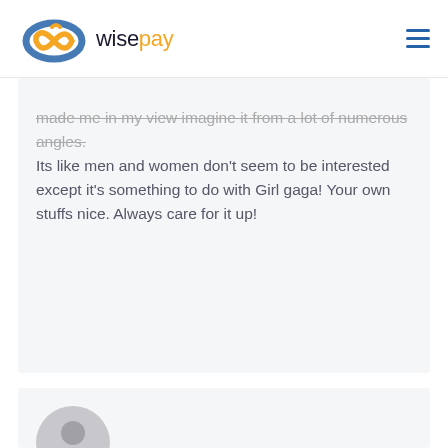wisepay
made me in my view imagine it from a lot of numerous angles. Its like men and women don't seem to be interested except it's something to do with Girl gaga! Your own stuffs nice. Always care for it up!
[Figure (illustration): User avatar placeholder circle with silhouette icon, grey colored]
agagaino ... REPLY →